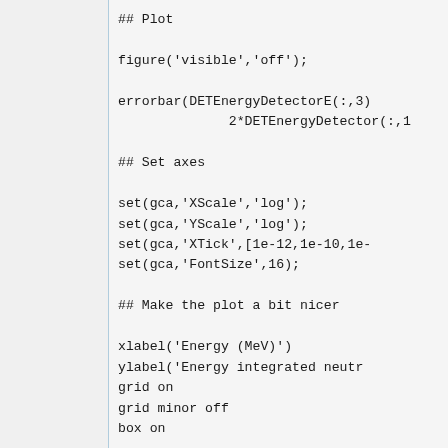## Plot

figure('visible','off');

errorbar(DETEnergyDetectorE(:,3)
              2*DETEnergyDetector(:,1

## Set axes

set(gca,'XScale','log');
set(gca,'YScale','log');
set(gca,'XTick',[1e-12,1e-10,1e-
set(gca,'FontSize',16);

## Make the plot a bit nicer

xlabel('Energy (MeV)')
ylabel('Energy integrated neutr
grid on
grid minor off
box on

## Save the figure

print -dpng FluxEInt.png;